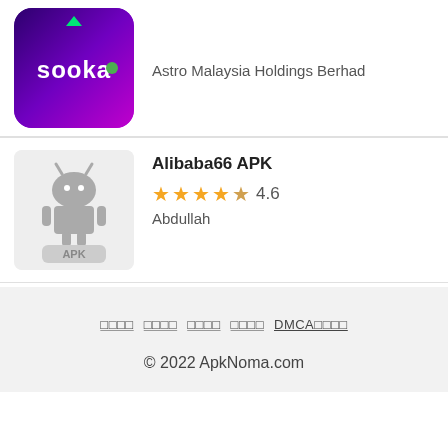[Figure (logo): Sooka app icon with purple/blue gradient background and 'sooka' text with a green dot]
Astro Malaysia Holdings Berhad
[Figure (logo): Alibaba66 APK app icon showing Android robot logo with APK text on grey background]
Alibaba66 APK
★★★★☆ 4.6
Abdullah
□□□□  □□□□  □□□□  □□□□  DMCA□□□□
© 2022 ApkNoma.com